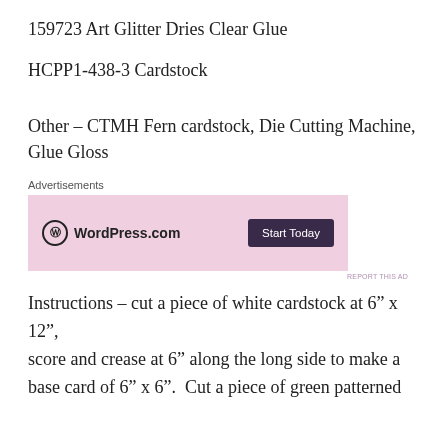159723 Art Glitter Dries Clear Glue
HCPP1-438-3 Cardstock
Other – CTMH Fern cardstock, Die Cutting Machine, Glue Gloss
[Figure (screenshot): Advertisement banner for WordPress.com with pink background, WordPress.com logo on the left and a dark 'Start Today' button on the right. Above the banner is the label 'Advertisements' and below it says 'REPORT THIS AD'.]
Instructions – cut a piece of white cardstock at 6” x 12”, score and crease at 6” along the long side to make a base card of 6” x 6”.  Cut a piece of green patterned